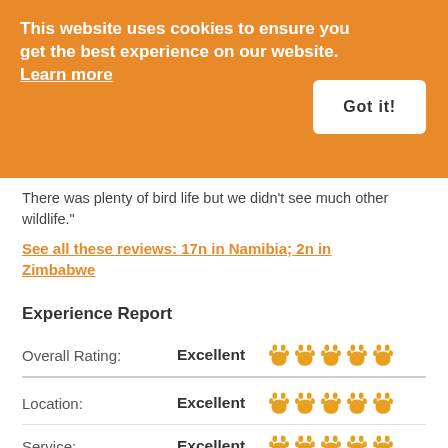This website uses cookies to ensure you get the best experience on our website. Learn more
Got it!
There was plenty of bird life but we didn't see much other wildlife."
See all these reviews: 17n in Namibia; 2n in Zimbabwe
Experience Report
Overall Rating: Excellent ★★★★★
Location: Excellent ★★★★★
Service: Excellent ★★★★★
Activities: Excellent ★★★★★
Rooms: Excellent ★★★★☆